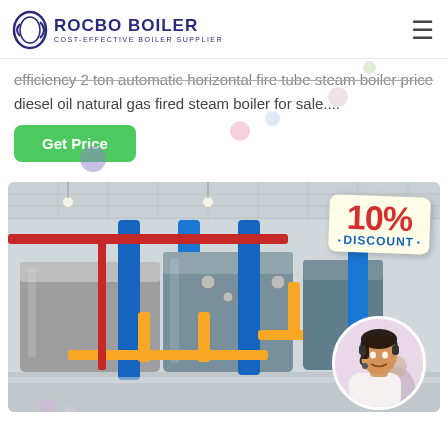ROCBO BOILER - COST-EFFECTIVE BOILER SUPPLIER
efficiency 2 ton automatic horizontal fire tube steam boiler price diesel oil natural gas fired steam boiler for sale....
Get Price
[Figure (photo): Industrial boiler room with large blue cylindrical boilers, yellow and red pipes, inside a factory building. Overlay shows '10% DISCOUNT' badge and a smiling female customer service agent with headset in a circular inset.]